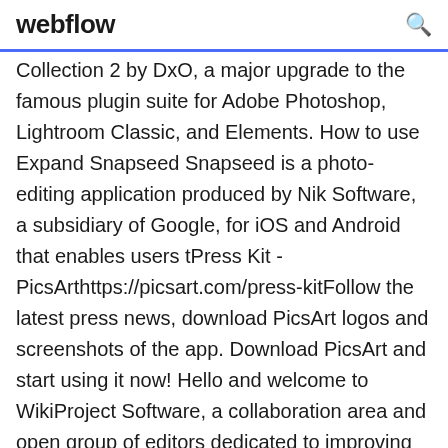webflow
Collection 2 by DxO, a major upgrade to the famous plugin suite for Adobe Photoshop, Lightroom Classic, and Elements. How to use Expand Snapseed Snapseed is a photo-editing application produced by Nik Software, a subsidiary of Google, for iOS and Android that enables users tPress Kit - PicsArthttps://picsart.com/press-kitFollow the latest press news, download PicsArt logos and screenshots of the app. Download PicsArt and start using it now! Hello and welcome to WikiProject Software, a collaboration area and open group of editors dedicated to improving Wikipedia's coverage of software articles. Flickr is almost certainly the best online photo